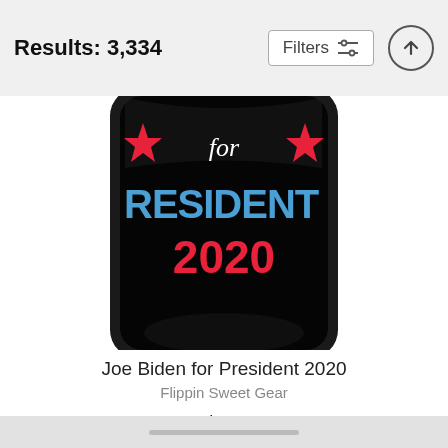Results: 3,334
[Figure (screenshot): A phone case product showing 'for PRESIDENT 2020' text with red stars on a black background]
Joe Biden for President 2020
Flippin Sweet Gear
$24